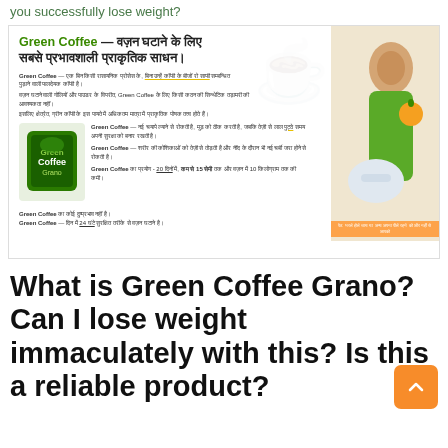you successfully lose weight?
[Figure (infographic): Green Coffee Grano advertisement banner in Hindi with product image and model holding scale and fruit]
What is Green Coffee Grano? Can I lose weight immaculately with this? Is this a reliable product?